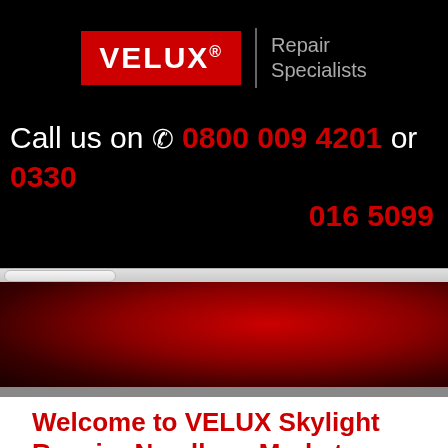[Figure (logo): VELUX Repair Specialists logo — VELUX in white text on red background, with 'Repair Specialists' in gray text beside it]
Call us on 📞 0800 009 4201 or 0330 016 5099
[Figure (photo): Red and dark abstract background image, hero banner area]
Welcome to VELUX Skylight Repairs Needham Market
Skylight Repairs offers Velux window repairs Needham